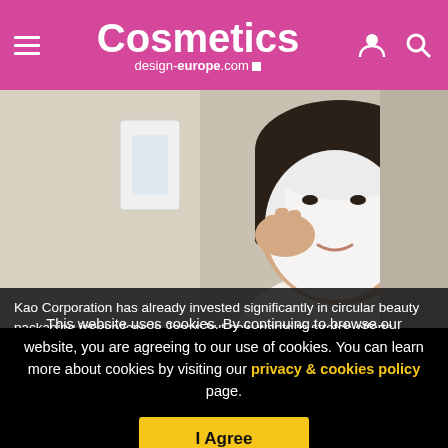Cosmetics design-europe.com
[Figure (photo): Person applying a white face mask/skincare product, looking in a mirror in a bathroom setting. Photo credit: Getty Images.]
Kao Corporation has already invested significantly in circular beauty packaging innovations in Japan but now wants to stretch efforts beyond its domestic market [Getty Images]
This website uses cookies. By continuing to browse our website, you are agreeing to our use of cookies. You can learn more about cookies by visiting our privacy & cookies policy page.